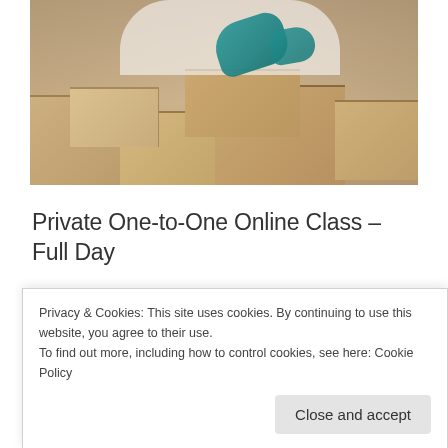[Figure (photo): A person wearing white protective clothing and teal/turquoise gloves working with open cardboard boxes in a warehouse or packing facility.]
Private One-to-One Online Class – Full Day
This online course combines all of our courses into one and is provided on a private 1 to 1 basis. You will
Privacy & Cookies: This site uses cookies. By continuing to use this website, you agree to their use.
To find out more, including how to control cookies, see here: Cookie Policy
Close and accept